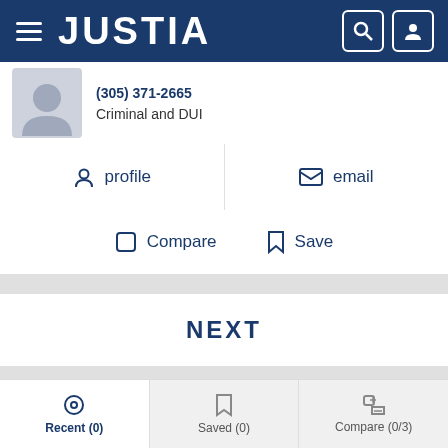JUSTIA
(305) 371-2665
Criminal and DUI
profile
email
Compare
Save
NEXT
Lawyers: Interested in Your Traffic Stats?
Go Premium
Recent (0)  Saved (0)  Compare (0/3)